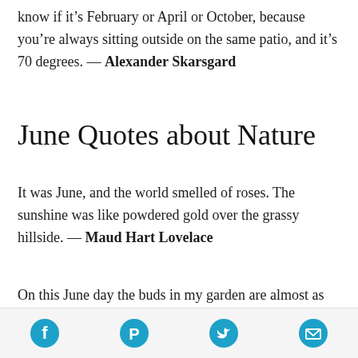know if it’s February or April or October, because you’re always sitting outside on the same patio, and it’s 70 degrees. — Alexander Skarsgard
June Quotes about Nature
It was June, and the world smelled of roses. The sunshine was like powdered gold over the grassy hillside. — Maud Hart Lovelace
On this June day the buds in my garden are almost as enchanting as the open flowers. Things in bud bring, in
Facebook | Pinterest | Twitter | Email